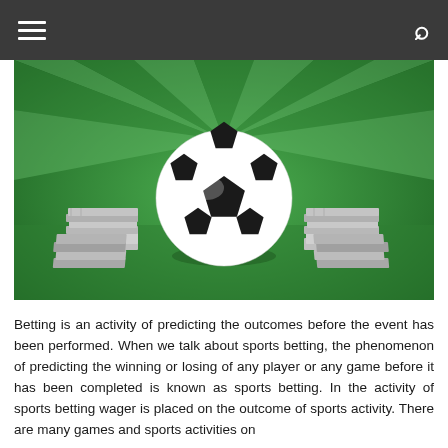≡ [hamburger menu] [search icon]
[Figure (photo): A soccer ball in the center on a green striped grass field with stacks of money/cash bundles on both sides (left and right), creating a sports betting themed image. Bright green rays radiate from behind the ball.]
Betting is an activity of predicting the outcomes before the event has been performed. When we talk about sports betting, the phenomenon of predicting the winning or losing of any player or any game before it has been completed is known as sports betting. In the activity of sports betting wager is placed on the outcome of sports activity. There are many games and sports activities on